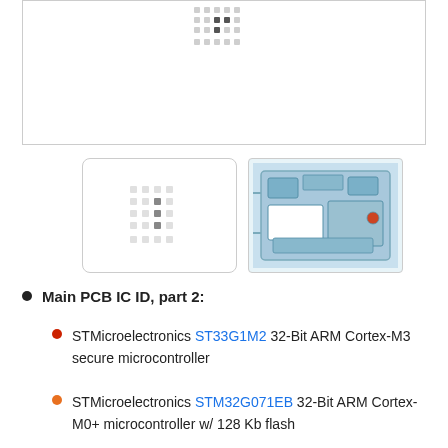[Figure (schematic): Top bordered image box showing a small dot/pad grid pattern (BGA or IC pad layout) centered near the top, on white background]
[Figure (schematic): Thumbnail showing BGA dot/pad grid pattern on white background with rounded border]
[Figure (photo): Thumbnail photo of a main PCB circuit board showing electronic components]
Main PCB IC ID, part 2:
STMicroelectronics ST33G1M2 32-Bit ARM Cortex-M3 secure microcontroller
STMicroelectronics STM32G071EB 32-Bit ARM Cortex-M0+ microcontroller w/ 128 Kb flash